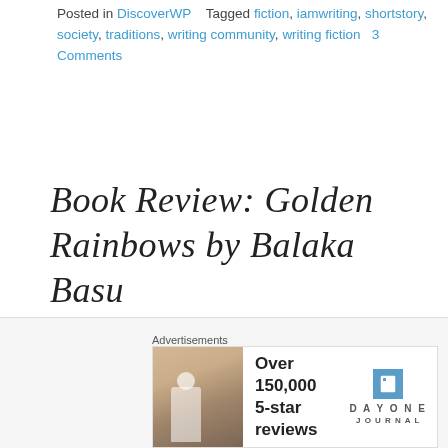Posted in DiscoverWP   Tagged fiction, iamwriting, shortstory, society, traditions, writing community, writing fiction   3 Comments
Book Review: Golden Rainbows by Balaka Basu
Posted on May 31, 2018
Title of the book : Golden Rainbows Author : Balaka Basu Published on Blogchatter E book Carnival, Season 3 The book " Golden Rainbows " is a collection of 26
[Figure (other): Advertisement banner for Day One Journal app showing a person photographing a foggy landscape, text 'Over 150,000 5-star reviews' and Day One Journal logo]